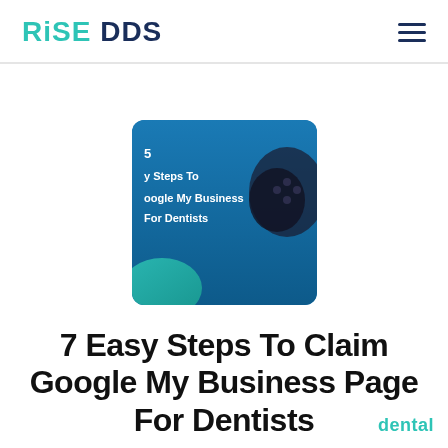RISE DDS
[Figure (screenshot): Thumbnail image showing a blue background with text 'Easy Steps To oogle My Business For Dentists' and a game controller silhouette]
7 Easy Steps To Claim Google My Business Page For Dentists